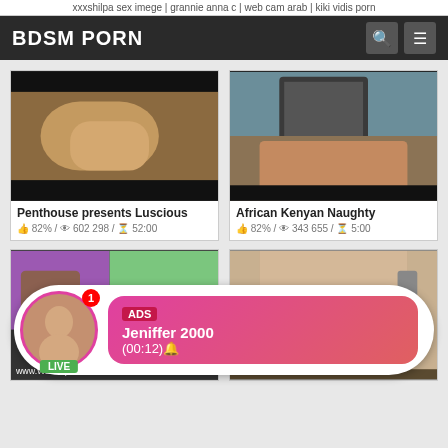xxxshilpa sex imege | grannie anna c | web cam arab | kiki vidis porn
BDSM PORN
[Figure (screenshot): Video thumbnail - blurry skin tones, dark background]
Penthouse presents Luscious
82% / 602 298 / 52:00
[Figure (screenshot): Video thumbnail - person on bed with laptop]
African Kenyan Naughty
82% / 343 655 / 5:00
[Figure (screenshot): Video thumbnail bottom left - colorful background]
[Figure (screenshot): Video thumbnail bottom right - hotel room]
ADS
Jeniffer 2000
(00:12)🔔